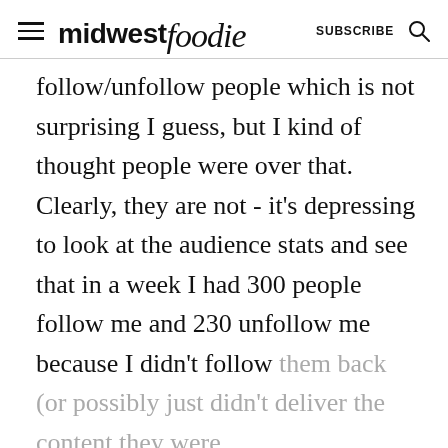midwest foodie  SUBSCRIBE
follow/unfollow people which is not surprising I guess, but I kind of thought people were over that. Clearly, they are not - it's depressing to look at the audience stats and see that in a week I had 300 people follow me and 230 unfollow me because I didn't follow them back (or possibly just didn't deliver the content they were